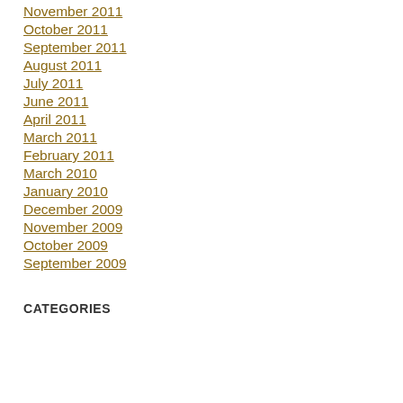November 2011
October 2011
September 2011
August 2011
July 2011
June 2011
April 2011
March 2011
February 2011
March 2010
January 2010
December 2009
November 2009
October 2009
September 2009
CATEGORIES